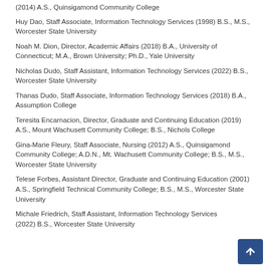(2014) A.S., Quinsigamond Community College
Huy Dao, Staff Associate, Information Technology Services (1998) B.S., M.S., Worcester State University
Noah M. Dion, Director, Academic Affairs (2018) B.A., University of Connecticut; M.A., Brown University; Ph.D., Yale University
Nicholas Dudo, Staff Assistant, Information Technology Services (2022) B.S., Worcester State University
Thanas Dudo, Staff Associate, Information Technology Services (2018) B.A., Assumption College
Teresita Encarnacion, Director, Graduate and Continuing Education (2019) A.S., Mount Wachusett Community College; B.S., Nichols College
Gina-Marie Fleury, Staff Associate, Nursing (2012) A.S., Quinsigamond Community College; A.D.N., Mt. Wachusett Community College; B.S., M.S., Worcester State University
Telese Forbes, Assistant Director, Graduate and Continuing Education (2001) A.S., Springfield Technical Community College; B.S., M.S., Worcester State University
Michale Friedrich, Staff Assistant, Information Technology Services (2022) B.S., Worcester State University